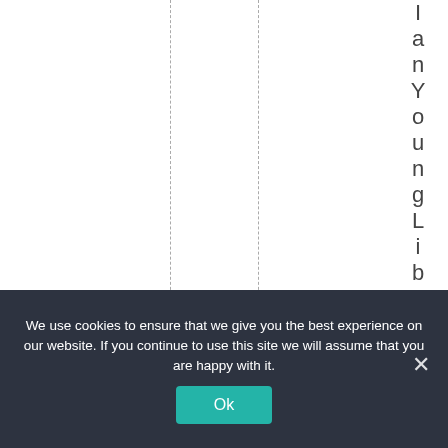[Figure (other): White page area with two vertical dashed lines and vertically-stacked text spelling 'IanYoungLiberalism' reading top to bottom on the right side]
We use cookies to ensure that we give you the best experience on our website. If you continue to use this site we will assume that you are happy with it.
Ok